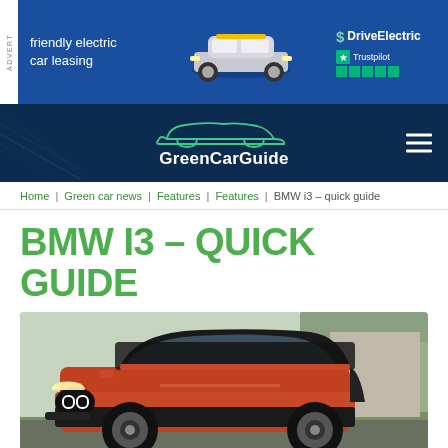[Figure (screenshot): Advertisement banner for DriveElectric friendly electric car leasing with MINI Electric car image and Trustpilot 5-star rating]
[Figure (logo): GreenCarGuide website logo with car silhouette outline and navigation hamburger menu]
Home | Green car news | Features | Features | BMW i3 – quick guide
BMW I3 – QUICK GUIDE
[Figure (photo): BMW i3 electric car in orange/red color driving on a road with blurred background]